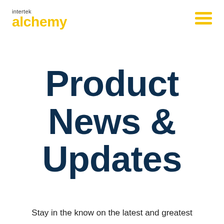[Figure (logo): Intertek Alchemy logo with 'intertek' in small dark text above 'alchemy' in large yellow bold text]
Product News & Updates
Stay in the know on the latest and greatest